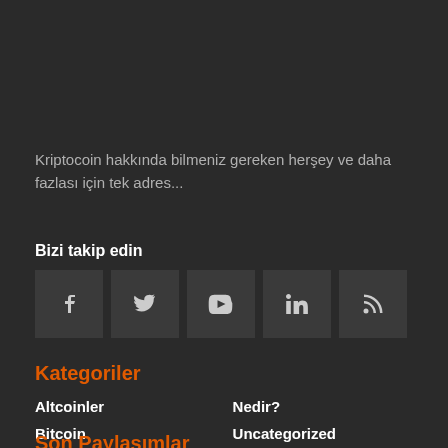Kriptocoin hakkında bilmeniz gereken herşey ve daha fazlası için tek adres...
Bizi takip edin
[Figure (other): Social media icon buttons: Facebook, Twitter, YouTube, LinkedIn, RSS feed — dark grey square buttons with white icons]
Kategoriler
Altcoinler
Nedir?
Bitcoin
Uncategorized
Haberler
Son Paylaşımlar